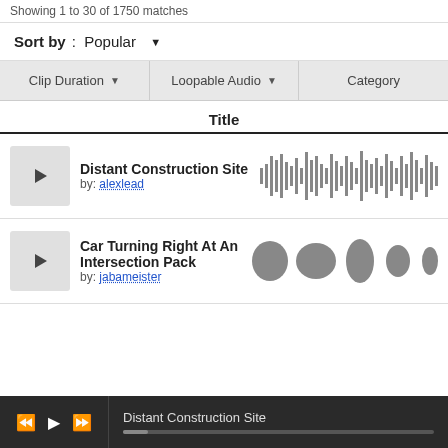Showing 1 to 30 of 1750 matches
Sort by : Popular ▼
Clip Duration ▼   Loopable Audio ▼   Category
Title
Distant Construction Site
by: alexlead
[Figure (other): Audio waveform for Distant Construction Site]
Car Turning Right At An Intersection Pack
by: jabameister
[Figure (other): Audio waveform for Car Turning Right At An Intersection Pack]
Distant Construction Site (now playing in player bar)